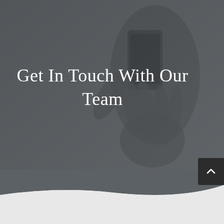[Figure (photo): Dark gray overlay background with a hand holding a smartphone, semi-transparent]
Get In Touch With Our Team
[Figure (other): Dark scroll-to-top button with upward chevron arrow at right edge]